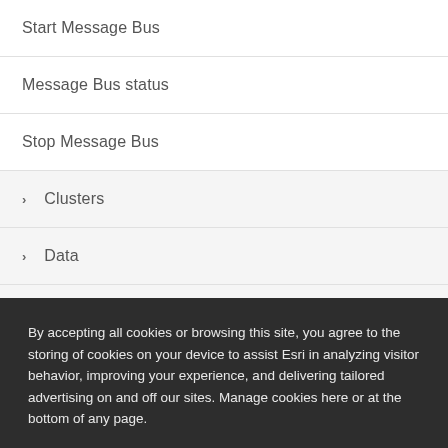Start Message Bus
Message Bus status
Stop Message Bus
> Clusters
> Data
> Uploads
> Logs
> KML
By accepting all cookies or browsing this site, you agree to the storing of cookies on your device to assist Esri in analyzing visitor behavior, improving your experience, and delivering tailored advertising on and off our sites. Manage cookies here or at the bottom of any page.